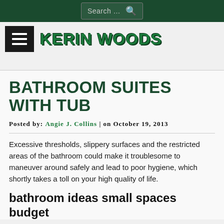Search ...
KERIN WOODS
BATHROOM SUITES WITH TUB
Posted by: Angie J. Collins | on October 19, 2013
Excessive thresholds, slippery surfaces and the restricted areas of the bathroom could make it troublesome to maneuver around safely and lead to poor hygiene, which shortly takes a toll on your high quality of life.
bathroom ideas small spaces budget